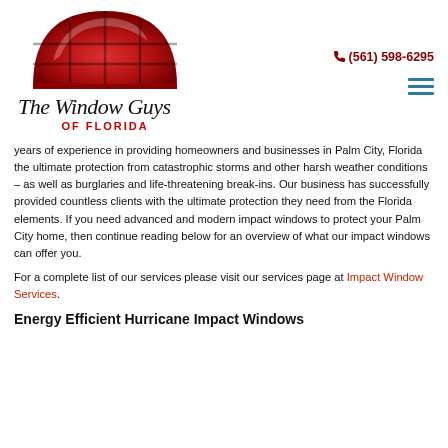[Figure (logo): The Window Guys of Florida logo — red dome/arch shape with grid window panes on top, script text 'The Window Guys' in black, 'OF FLORIDA' in red below]
(561) 598-6295
years of experience in providing homeowners and businesses in Palm City, Florida the ultimate protection from catastrophic storms and other harsh weather conditions – as well as burglaries and life-threatening break-ins. Our business has successfully provided countless clients with the ultimate protection they need from the Florida elements. If you need advanced and modern impact windows to protect your Palm City home, then continue reading below for an overview of what our impact windows can offer you.
For a complete list of our services please visit our services page at Impact Window Services.
Energy Efficient Hurricane Impact Windows